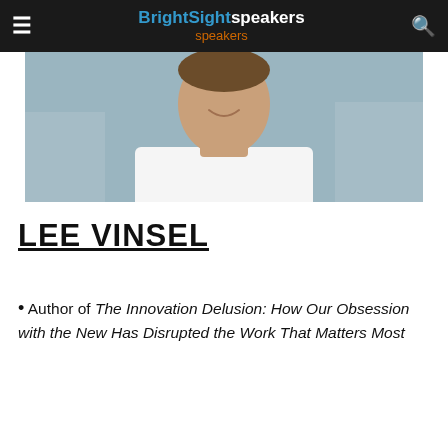BrightSight speakers
[Figure (photo): Headshot of Lee Vinsel, a man in a white shirt, smiling, photographed outdoors in front of a building]
LEE VINSEL
Author of The Innovation Delusion: How Our Obsession with the New Has Disrupted the Work That Matters Most